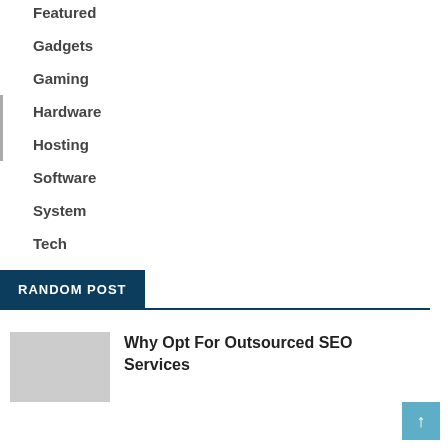Featured
Gadgets
Gaming
Hardware
Hosting
Software
System
Tech
RANDOM POST
Why Opt For Outsourced SEO Services